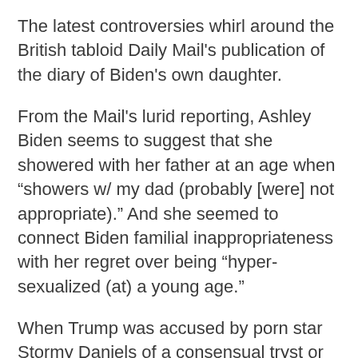The latest controversies whirl around the British tabloid Daily Mail's publication of the diary of Biden's own daughter.
From the Mail's lurid reporting, Ashley Biden seems to suggest that she showered with her father at an age when “showers w/ my dad (probably [were] not appropriate).” And she seemed to connect Biden familial inappropriateness with her regret over being “hyper-sexualized (at) a young age.”
When Trump was accused by porn star Stormy Daniels of a consensual tryst or was caught on old Access Hollywood tape crudely boasting about touching inappropriately